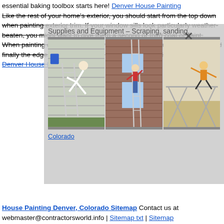essential baking toolbox starts here! Denver House Painting Like the rest of your home's exterior, you should start from the top down when painting exterior trim. If your window sills look particularly weather-beaten, you might want to give them a second or third coat of paint. When painting doors, paint the panels first, then the rails and stiles, and finally the edges. For more details, read up on trim painting guidelines. Denver House Painting
[Figure (photo): Popup overlay panel showing 'Supplies and Equipment – Scraping, sanding,' header with three photos of people on ladders painting house exteriors, and a Colorado link]
House Painting Denver, Colorado Sitemap Contact us at webmaster@contractorsworld.info | Sitemap txt | Sitemap